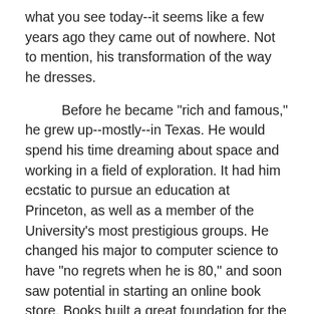what you see today--it seems like a few years ago they came out of nowhere. Not to mention, his transformation of the way he dresses.
Before he became "rich and famous," he grew up--mostly--in Texas. He would spend his time dreaming about space and working in a field of exploration. It had him ecstatic to pursue an education at Princeton, as well as a member of the University's most prestigious groups. He changed his major to computer science to have "no regrets when he is 80," and soon saw potential in starting an online book store. Books built a great foundation for the company, and do society in general--the growth of knowledge of the past. He had timed the company perfect, having to educate people what the Internet was and what it could become. Change starts before others see what you have been working on, worrying about, and hoping it will work. Jeff's long term thinking has helped the company to focus of what is coming rather than what's